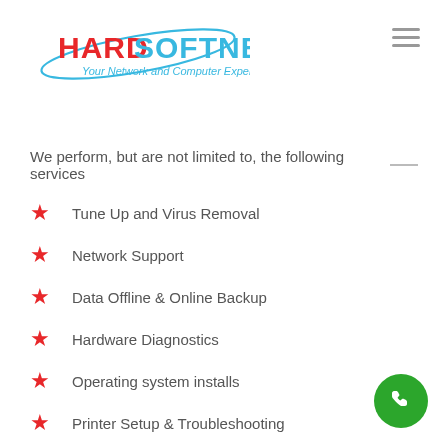[Figure (logo): HardSoftNet logo with text 'Your Network and Computer Expert']
We perform, but are not limited to, the following services
Tune Up and Virus Removal
Network Support
Data Offline & Online Backup
Hardware Diagnostics
Operating system installs
Printer Setup & Troubleshooting